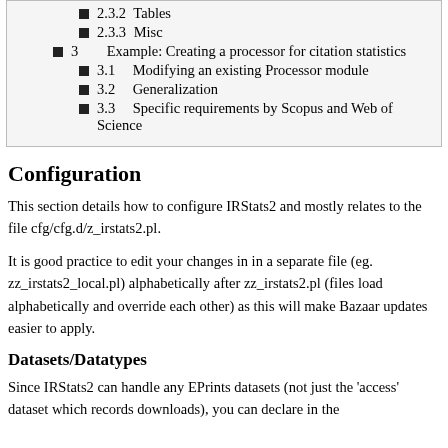2.3.2  Tables
2.3.3  Misc
3  Example: Creating a processor for citation statistics
3.1  Modifying an existing Processor module
3.2  Generalization
3.3  Specific requirements by Scopus and Web of Science
Configuration
This section details how to configure IRStats2 and mostly relates to the file cfg/cfg.d/z_irstats2.pl.
It is good practice to edit your changes in in a separate file (eg. zz_irstats2_local.pl) alphabetically after zz_irstats2.pl (files load alphabetically and override each other) as this will make Bazaar updates easier to apply.
Datasets/Datatypes
Since IRStats2 can handle any EPrints datasets (not just the 'access' dataset which records downloads), you can declare in the